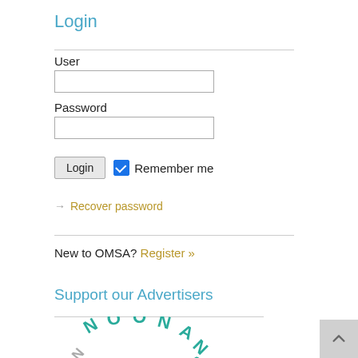Login
User
Password
Login   Remember me
→ Recover password
New to OMSA? Register »
Support our Advertisers
[Figure (logo): Noonan's logo with letters arranged in a circle, teal colored text]